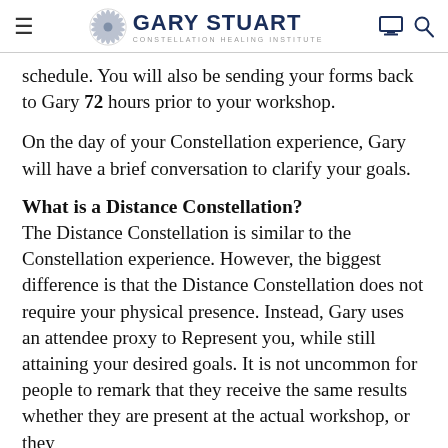GARY STUART CONSTELLATION HEALING INSTITUTE
schedule. You will also be sending your forms back to Gary 72 hours prior to your workshop.
On the day of your Constellation experience, Gary will have a brief conversation to clarify your goals.
What is a Distance Constellation?
The Distance Constellation is similar to the Constellation experience. However, the biggest difference is that the Distance Constellation does not require your physical presence. Instead, Gary uses an attendee proxy to Represent you, while still attaining your desired goals. It is not uncommon for people to remark that they receive the same results whether they are present at the actual workshop, or they